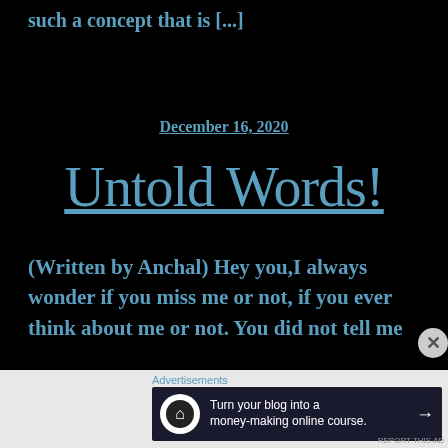such a concept that is [...]
December 16, 2020
Untold Words!
(Written by Anchal) Hey you,I always wonder if you miss me or not, if you ever think about me or not. You did not tell me
Advertisements
Turn your blog into a money-making online course.